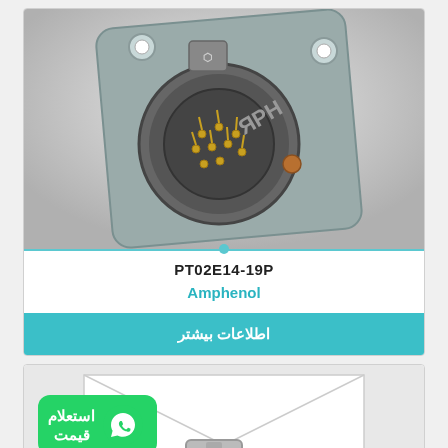[Figure (photo): Amphenol PT02E14-19P circular military connector with gold pins, viewed from front, mounted on square metal flange plate]
PT02E14-19P
Amphenol
اطلاعات بیشتر
[Figure (photo): Second product card with WhatsApp price inquiry badge (استعلام قیمت) in green, envelope background, and camera placeholder icon]